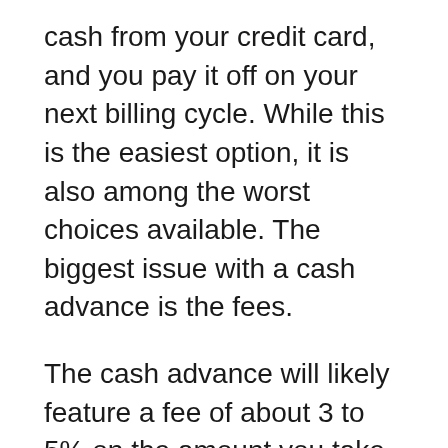cash from your credit card, and you pay it off on your next billing cycle. While this is the easiest option, it is also among the worst choices available. The biggest issue with a cash advance is the fees.
The cash advance will likely feature a fee of about 3 to 5% on the amount you take out. So, if you want to invest $1,000 in stocks and use a cash advance to do so, you'd pay $30 to $50 in fees! But those are just the initial fees. Cash advance APRs are usually higher than the regular APR from transactions on your credit card. AND they start to accumulate interest right away. This contrasts with normal purchases that won't accumulate interest until after your payment due date.